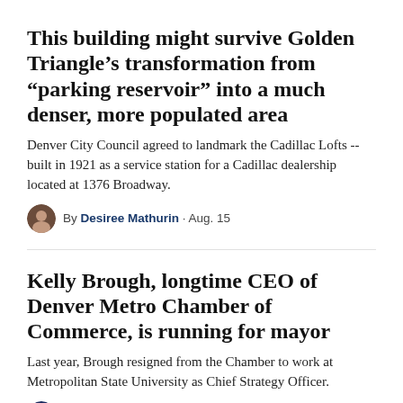This building might survive Golden Triangle’s transformation from “parking reservoir” into a much denser, more populated area
Denver City Council agreed to landmark the Cadillac Lofts -- built in 1921 as a service station for a Cadillac dealership located at 1376 Broadway.
By Desiree Mathurin · Aug. 15
Kelly Brough, longtime CEO of Denver Metro Chamber of Commerce, is running for mayor
Last year, Brough resigned from the Chamber to work at Metropolitan State University as Chief Strategy Officer.
By Ben Markus · Aug. 15